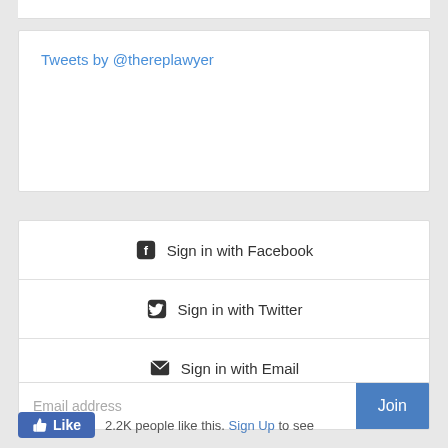Tweets by @thereplawyer
Sign in with Facebook
Sign in with Twitter
Sign in with Email
Email address
Join
2.2K people like this. Sign Up to see what your friends like.